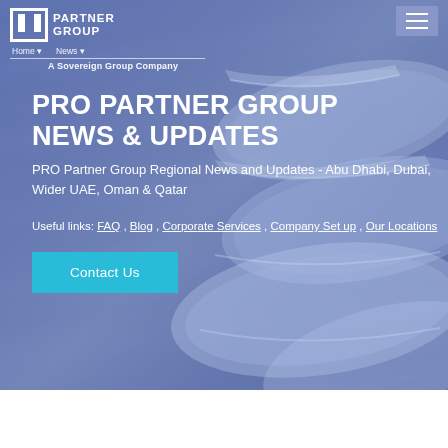Home / News
PRO PARTNER GROUP NEWS & UPDATES
PRO Partner Group Regional News and Updates - Abu Dhabi, Dubai, Wider UAE, Oman & Qatar
Useful links: FAQ , Blog , Corporate Services , Company Set up , Our Locations
Contact Us